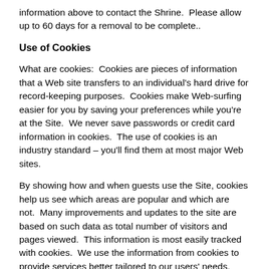information above to contact the Shrine.  Please allow up to 60 days for a removal to be complete..
Use of Cookies
What are cookies:  Cookies are pieces of information that a Web site transfers to an individual's hard drive for record-keeping purposes.  Cookies make Web-surfing easier for you by saving your preferences while you're at the Site.  We never save passwords or credit card information in cookies.  The use of cookies is an industry standard – you'll find them at most major Web sites.
By showing how and when guests use the Site, cookies help us see which areas are popular and which are not.  Many improvements and updates to the site are based on such data as total number of visitors and pages viewed.  This information is most easily tracked with cookies.  We use the information from cookies to provide services better tailored to our users' needs.